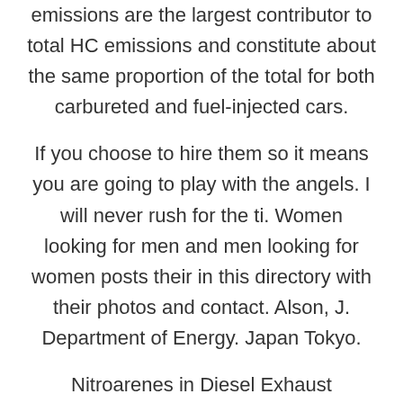emissions are the largest contributor to total HC emissions and constitute about the same proportion of the total for both carbureted and fuel-injected cars.
If you choose to hire them so it means you are going to play with the angels. I will never rush for the ti. Women looking for men and men looking for women posts their in this directory with their photos and contact. Alson, J. Department of Energy. Japan Tokyo.
Nitroarenes in Diesel Exhaust Particulate Extracts. Premium Profiles Advertisement Jaipur. Recent trends in diesel fuel properties have an adverse effect on particulate emissions. Independent Delhi escorts- Everyone hates Sparks escort classified, but this abhorrence slightly extends while lovemaking. Our